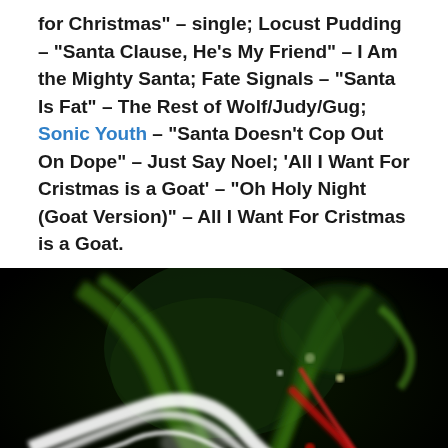for Christmas" – single; Locust Pudding – "Santa Clause, He's My Friend" – I Am the Mighty Santa; Fate Signals – "Santa Is Fat" – The Rest of Wolf/Judy/Gug; Sonic Youth – "Santa Doesn't Cop Out On Dope" – Just Say Noel; 'All I Want For Cristmas is a Goat' – "Oh Holy Night (Goat Version)" – All I Want For Cristmas is a Goat.
[Figure (photo): Long-exposure night photo of Christmas lights creating streaks of white, green, and red light against a dark background, resembling an abstract blurred image of a decorated Christmas tree.]